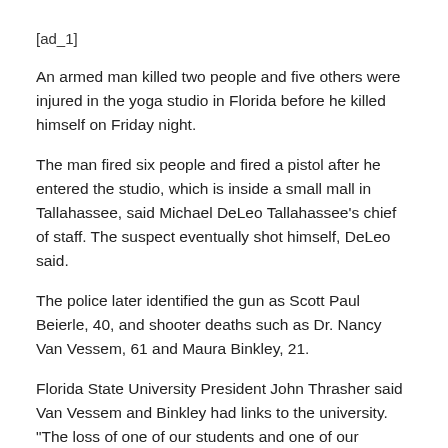[ad_1]
An armed man killed two people and five others were injured in the yoga studio in Florida before he killed himself on Friday night.
The man fired six people and fired a pistol after he entered the studio, which is inside a small mall in Tallahassee, said Michael DeLeo Tallahassee's chief of staff. The suspect eventually shot himself, DeLeo said.
The police later identified the gun as Scott Paul Beierle, 40, and shooter deaths such as Dr. Nancy Van Vessem, 61 and Maura Binkley, 21.
Florida State University President John Thrasher said Van Vessem and Binkley had links to the university. "The loss of one of our students and one of our members in this tragic and violent way is just devastating to the family of Florida State University. We deeply feel this loss and send our deepest sympathy to the loved ones of Maura and Nancy as we pray for the healing of the injured," Thrasher said.